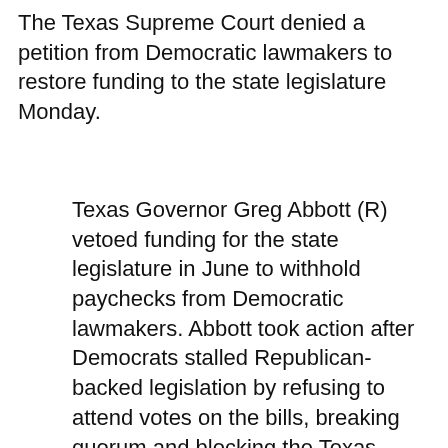The Texas Supreme Court denied a petition from Democratic lawmakers to restore funding to the state legislature Monday.
Texas Governor Greg Abbott (R) vetoed funding for the state legislature in June to withhold paychecks from Democratic lawmakers. Abbott took action after Democrats stalled Republican-backed legislation by refusing to attend votes on the bills, breaking quorum and blocking the Texas House from conducting business.Soon after Abbott cut funding to the legislature, Democrats petitioned the Texas Supreme Court to intervene and overturn the governor's veto of state funding. The court denied the request, saying that the fight Democrats asked the court to resolve is not between two coequal branches of government, but within one branch, namely the legislature, and outside of the court's purview.